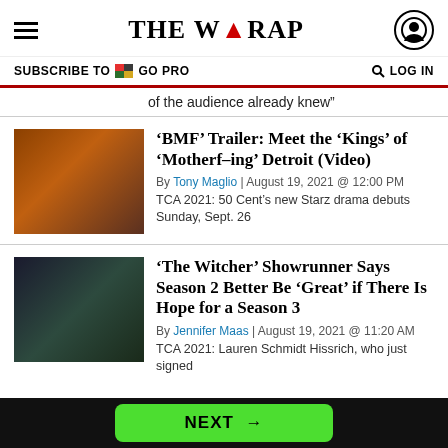THE WRAP
SUBSCRIBE TO GO PRO   LOG IN
of the audience already knew”
‘BMF’ Trailer: Meet the ‘Kings’ of ‘Motherf–ing’ Detroit (Video)
By Tony Maglio | August 19, 2021 @ 12:00 PM
TCA 2021: 50 Cent’s new Starz drama debuts Sunday, Sept. 26
‘The Witcher’ Showrunner Says Season 2 Better Be ‘Great’ if There Is Hope for a Season 3
By Jennifer Maas | August 19, 2021 @ 11:20 AM
TCA 2021: Lauren Schmidt Hissrich, who just signed
NEXT →